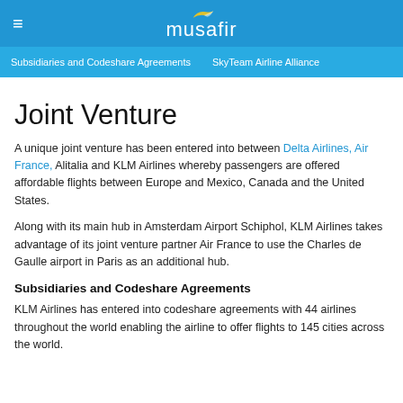musafir
Subsidiaries and Codeshare Agreements   SkyTeam Airline Alliance
Joint Venture
A unique joint venture has been entered into between Delta Airlines, Air France, Alitalia and KLM Airlines whereby passengers are offered affordable flights between Europe and Mexico, Canada and the United States.
Along with its main hub in Amsterdam Airport Schiphol, KLM Airlines takes advantage of its joint venture partner Air France to use the Charles de Gaulle airport in Paris as an additional hub.
Subsidiaries and Codeshare Agreements
KLM Airlines has entered into codeshare agreements with 44 airlines throughout the world enabling the airline to offer flights to 145 cities across the world.